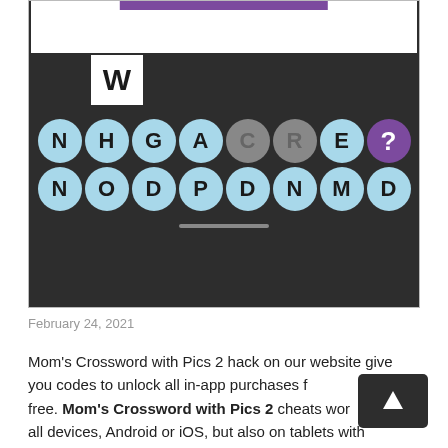[Figure (screenshot): Screenshot of a word puzzle mobile game (Mom's Crossword with Pics 2) showing letter tiles: row 1: N H G A C R E ? (? in purple circle), row 2: N O D P D N M D, all on dark background, with a white W tile above, and a purple bar at top.]
February 24, 2021
Mom's Crossword with Pics 2 hack on our website give you codes to unlock all in-app purchases for free. Mom's Crossword with Pics 2 cheats work on all devices, Android or iOS, but also on tablets with those OS. It's easy to unlock in-app purchases for